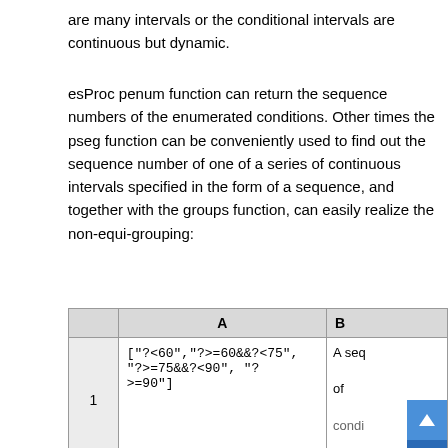are many intervals or the conditional intervals are continuous but dynamic.
esProc penum function can return the sequence numbers of the enumerated conditions. Other times the pseg function can be conveniently used to find out the sequence number of one of a series of continuous intervals specified in the form of a sequence, and together with the groups function, can easily realize the non-equi-grouping:
|  | A | B |
| --- | --- | --- |
| 1 | ["?<60","?>=60&&?<75", "?>=75&&?<90", "?>=90"] | A seq of condi... |